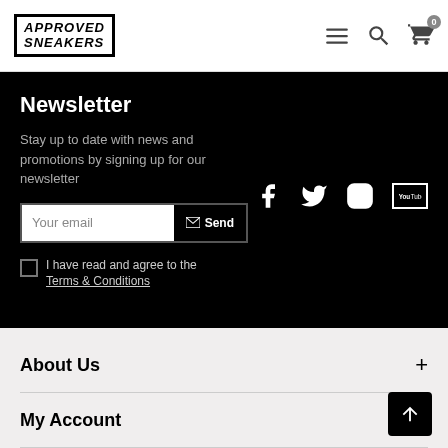[Figure (logo): Approved Sneakers logo in bold italic uppercase text inside a black border box]
[Figure (screenshot): Navigation icons: hamburger menu, search, and shopping cart with badge 0]
Newsletter
Stay up to date with news and promotions by signing up for our newsletter
[Figure (screenshot): Email input field with Send button]
I have read and agree to the Terms & Conditions
[Figure (screenshot): Social media icons: Facebook, Twitter, Instagram, YouTube]
About Us
My Account
Customer Service
KvK-nummer: 60216530
BTW-nummer: NL001974321B32